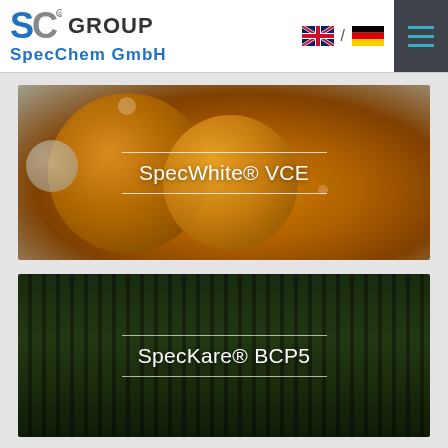[Figure (logo): SC Group SpecChem GmbH logo with blue and grey SC letters and company name]
[Figure (photo): Orange citrus/liquid bubbles background with SpecWhite® VCE product label centered]
[Figure (photo): Dark green bamboo/reeds background with SpecKare® BCP5 product label centered]